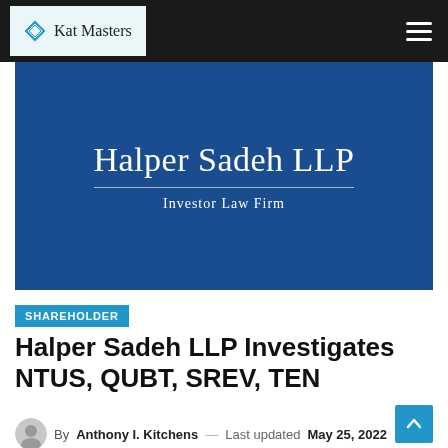Kat Masters
[Figure (logo): Halper Sadeh LLP Investor Law Firm logo on dark blue background]
SHAREHOLDER
Halper Sadeh LLP Investigates NTUS, QUBT, SREV, TEN
By Anthony I. Kitchens — Last updated May 25, 2022